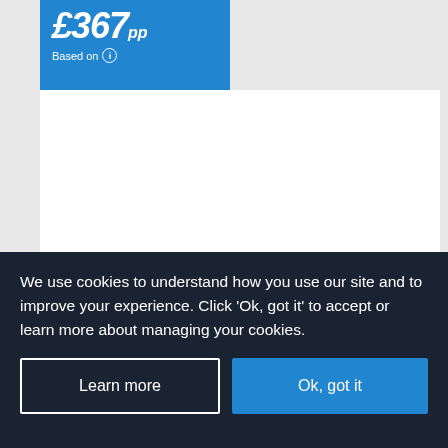£367pp Based on
Luxe Collection
PortoBay Falesia
Olhos D'Agua (Albufeira) , The Algarve
Our rating
Based on 3845 reviews
0.2 Km to Praia Barranco das Belharucas
We use cookies to understand how you use our site and to improve your experience. Click 'Ok, got it' to accept or learn more about managing your cookies.
Learn more
Ok, got it